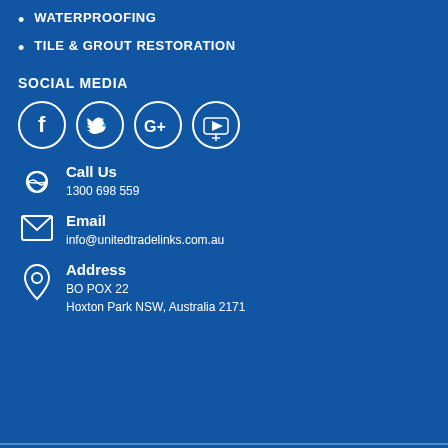WATERPROOFING
TILE & GROUT RESTORATION
SOCIAL MEDIA
[Figure (infographic): Social media icons: Facebook, Twitter, Google+, YouTube — white outlined circles on blue background]
Call Us
1300 698 559
Email
info@unitedtradelinks.com.au
Address
BO POX 22
Hoxton Park NSW, Australia 2171